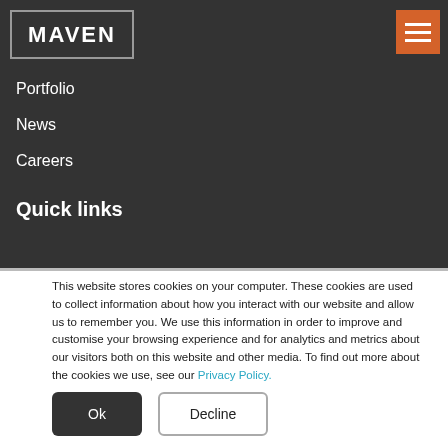[Figure (logo): MAVEN logo in white text inside a rectangular border on dark background]
[Figure (other): Orange hamburger menu button with three white horizontal lines]
Portfolio
News
Careers
Quick links
This website stores cookies on your computer. These cookies are used to collect information about how you interact with our website and allow us to remember you. We use this information in order to improve and customise your browsing experience and for analytics and metrics about our visitors both on this website and other media. To find out more about the cookies we use, see our Privacy Policy.